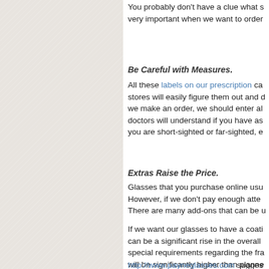You probably don't have a clue what s... very important when we want to order...
Be Careful with Measures.
All these labels on our prescription ca... stores will easily figure them out and d... we make an order, we should enter al... doctors will understand if you have as... you are short-sighted or far-sighted, e...
Extras Raise the Price.
Glasses that you purchase online usu... However, if we don't pay enough atte... There are many add-ons that can be u...
If we want our glasses to have a coati... can be a significant rise in the overall... special requirements regarding the fra... will be significantly higher than planne...
http://www.payneglasses.com sugges...